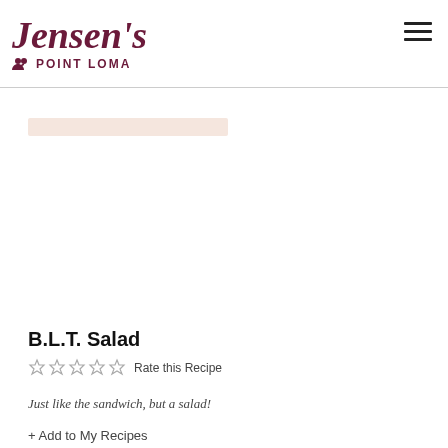Jensen's POINT LOMA
[Figure (illustration): Faded pinkish-beige horizontal bar placeholder for a recipe image]
B.L.T. Salad
☆☆☆☆☆ Rate this Recipe
Just like the sandwich, but a salad!
+ Add to My Recipes